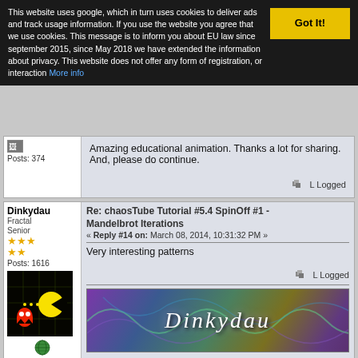This website uses google, which in turn uses cookies to deliver ads and track usage information. If you use the website you agree that we use cookies. This message is to inform you about EU law since september 2015, since May 2018 we have extended the information about privacy. This website does not offer any form of registration, or interaction More info
Posts: 374
Amazing educational animation. Thanks a lot for sharing. And, please do continue.
Logged
Dinkydau
Fractal Senior
Posts: 1616
Re: chaosTube Tutorial #5.4 SpinOff #1 - Mandelbrot Iterations
« Reply #14 on: March 08, 2014, 10:31:32 PM »
Very interesting patterns
Logged
[Figure (illustration): Dinkydau signature banner with cursive white text on colorful swirly background]
[Figure (photo): Pac-Man style game avatar image with yellow and red figures on dark background]